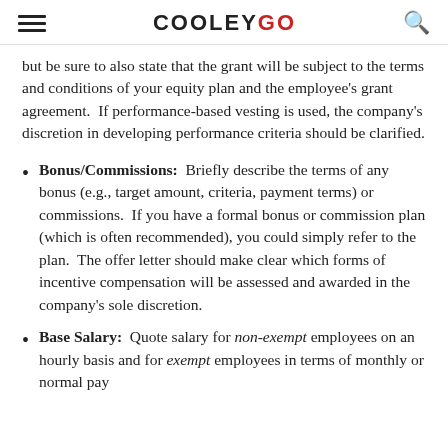COOLEYGO
but be sure to also state that the grant will be subject to the terms and conditions of your equity plan and the employee's grant agreement.  If performance-based vesting is used, the company's discretion in developing performance criteria should be clarified.
Bonus/Commissions:  Briefly describe the terms of any bonus (e.g., target amount, criteria, payment terms) or commissions.  If you have a formal bonus or commission plan (which is often recommended), you could simply refer to the plan.  The offer letter should make clear which forms of incentive compensation will be assessed and awarded in the company's sole discretion.
Base Salary:  Quote salary for non-exempt employees on an hourly basis and for exempt employees in terms of monthly or normal pay...